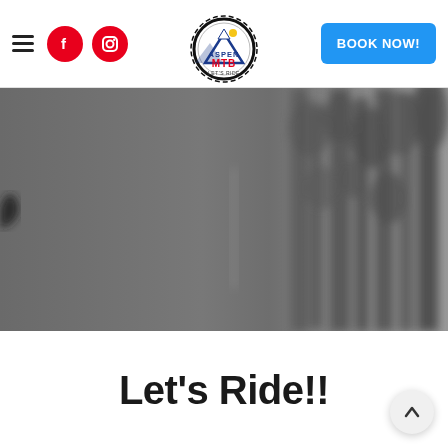Aspen MTB navigation header with hamburger menu, Facebook icon, Instagram icon, Aspen MTB logo, and BOOK NOW! button
[Figure (photo): Blurred greyscale background photo of mountain bike or forest scene, used as hero image banner]
Let's Ride!!